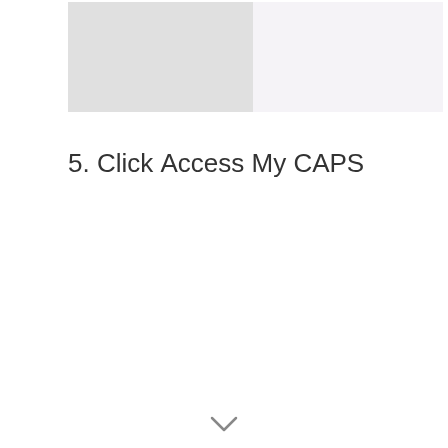[Figure (screenshot): Screenshot showing a UI with a gray left panel and a purple 'Check Admission Status' button on the right side]
5. Click Access My CAPS